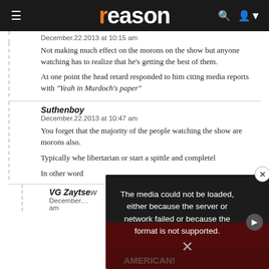reason
December.22.2013 at 10:15 am
Not making much effect on the morons on the show but anyone watching has to realize that he's getting the best of them.
At one point the head retard responded to him citing media reports with "Yeah in Murdoch's paper"
Suthenboy
December.22.2013 at 10:47 am
You forget that the majority of the people watching the show are morons also.
Typically whe... libertarian or... start a spittle... and completel...
In other word...
VG Zaytsew...
December.... am